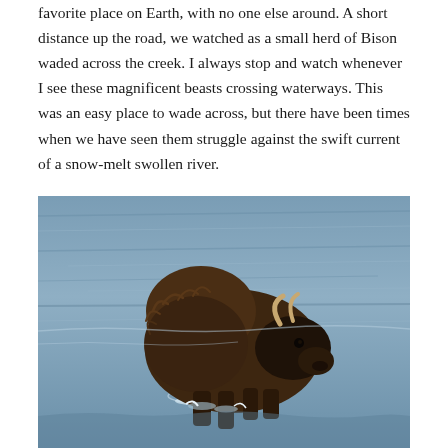favorite place on Earth, with no one else around. A short distance up the road, we watched as a small herd of Bison waded across the creek. I always stop and watch whenever I see these magnificent beasts crossing waterways. This was an easy place to wade across, but there have been times when we have seen them struggle against the swift current of a snow-melt swollen river.
[Figure (photo): A large bison wading through a river or creek, water up to its legs. The bison has a dark shaggy coat, prominent hump, and curved horns. Water surrounds the animal with ripples and splashes visible.]